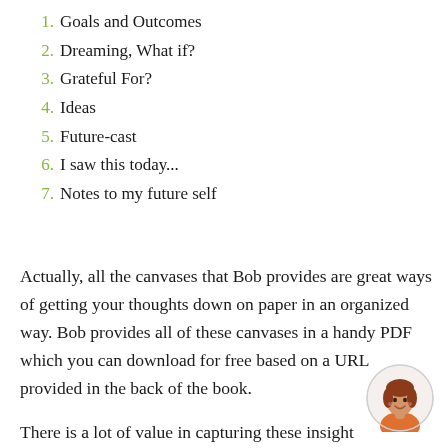1. Goals and Outcomes
2. Dreaming, What if?
3. Grateful For?
4. Ideas
5. Future-cast
6. I saw this today...
7. Notes to my future self
Actually, all the canvases that Bob provides are great ways of getting your thoughts down on paper in an organized way. Bob provides all of these canvases in a handy PDF which you can download for free based on a URL provided in the back of the book.
There is a lot of value in capturing these insight
[Figure (illustration): Circular avatar illustration of a woman with red-brown hair wearing an orange top, smiling]